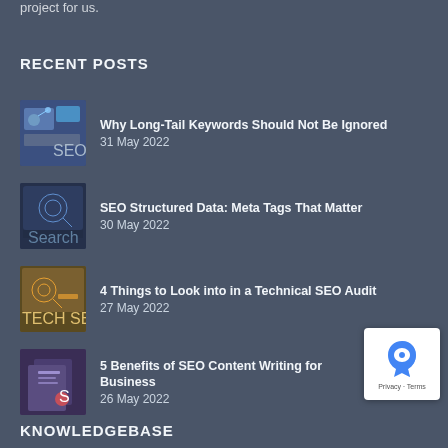project for us.
RECENT POSTS
Why Long-Tail Keywords Should Not Be Ignored
31 May 2022
SEO Structured Data: Meta Tags That Matter
30 May 2022
4 Things to Look into in a Technical SEO Audit
27 May 2022
5 Benefits of SEO Content Writing for Business
26 May 2022
KNOWLEDGEBASE